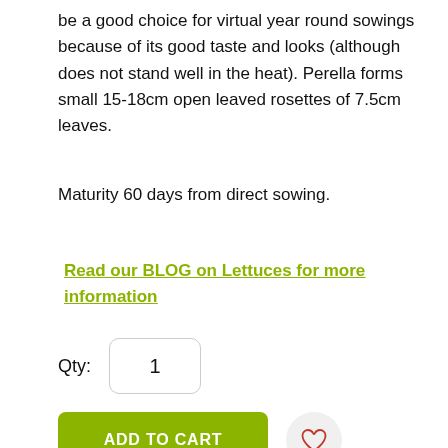be a good choice for virtual year round sowings because of its good taste and looks (although does not stand well in the heat). Perella forms small 15-18cm open leaved rosettes of 7.5cm leaves.
Maturity 60 days from direct sowing.
Read our BLOG on Lettuces for more information
Qty:
1
ADD TO CART